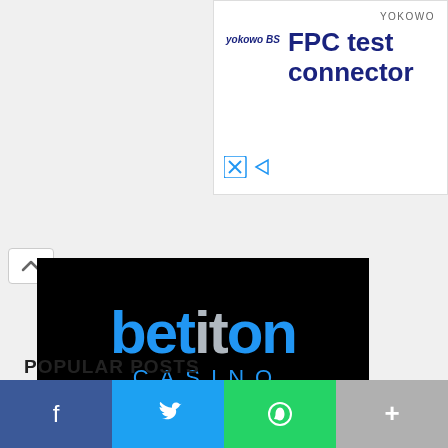[Figure (advertisement): Yokowo FPC test connector advertisement with logo and brand name]
[Figure (logo): Betiton Casino logo on black background with blue and grey text]
POPULAR POSTS
FIFA PLANS ON LAUNCHING ITS
[Figure (infographic): Social share bar with Facebook, Twitter, WhatsApp and more buttons]